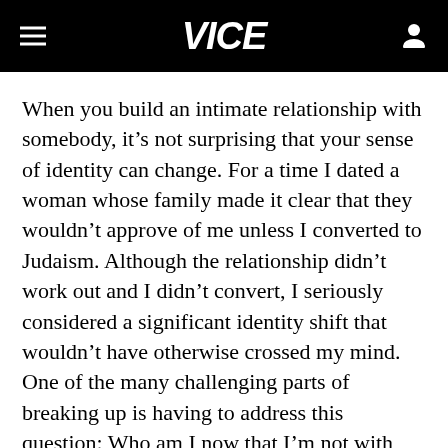VICE
When you build an intimate relationship with somebody, it’s not surprising that your sense of identity can change. For a time I dated a woman whose family made it clear that they wouldn’t approve of me unless I converted to Judaism. Although the relationship didn’t work out and I didn’t convert, I seriously considered a significant identity shift that wouldn’t have otherwise crossed my mind. One of the many challenging parts of breaking up is having to address this question: Who am I now that I’m not with my partner?